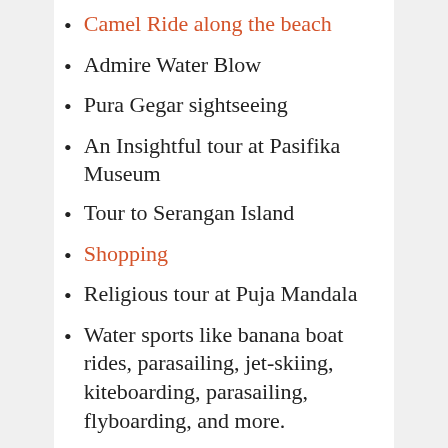Camel Ride along the beach
Admire Water Blow
Pura Gegar sightseeing
An Insightful tour at Pasifika Museum
Tour to Serangan Island
Shopping
Religious tour at Puja Mandala
Water sports like banana boat rides, parasailing, jet-skiing, kiteboarding, parasailing, flyboarding, and more.